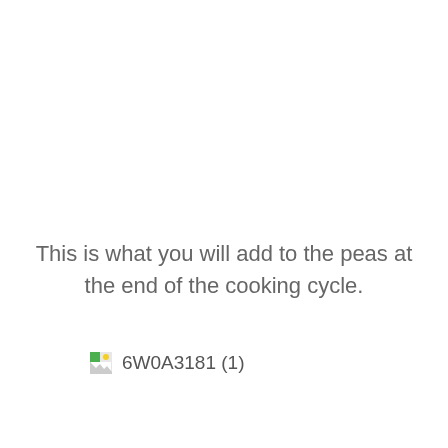This is what you will add to the peas at the end of the cooking cycle.
[Figure (photo): A broken image placeholder icon (small green and white thumbnail icon indicating a missing or unloaded image) with the filename label '6W0A3181 (1)' displayed to its right.]